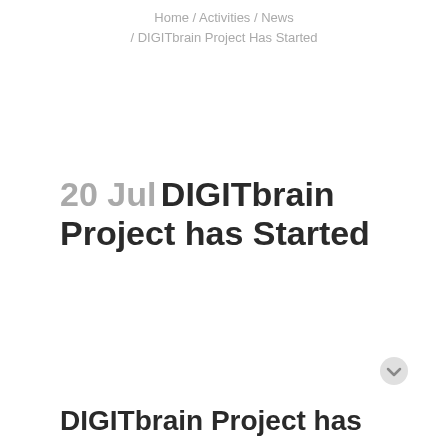Home / Activities / News / DIGITbrain Project Has Started
20 Jul DIGITbrain Project has Started
DIGITbrain Project has